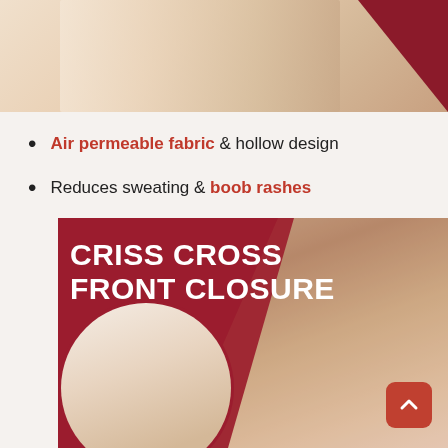[Figure (photo): Product photo showing a woman wearing a beige shapewear/bra garment, with a dark red triangular graphic element in the top right corner]
Air permeable fabric & hollow design
Reduces sweating & boob rashes
[Figure (infographic): Product promotional image with dark red background, white bold text reading CRISS CROSS FRONT CLOSURE, showing two women wearing white bras. A circular inset shows a close-up of the bra front closure. An orange scroll-to-top button appears in the bottom right.]